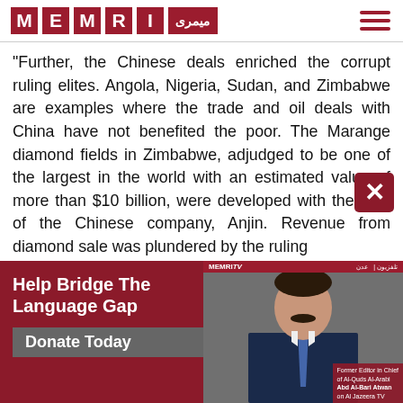[Figure (logo): MEMRI logo with red tiles for each letter M, E, M, R, I and Arabic text میمری]
"Further, the Chinese deals enriched the corrupt ruling elites. Angola, Nigeria, Sudan, and Zimbabwe are examples where the trade and oil deals with China have not benefited the poor. The Marange diamond fields in Zimbabwe, adjudged to be one of the largest in the world with an estimated value of more than $10 billion, were developed with the help of the Chinese company, Anjin. Revenue from diamond sale was plundered by the ruling
[Figure (screenshot): MEMRI TV video thumbnail showing a man in a suit, with a red caption box reading: Former Editor in Chief of Al-Quds Al-Arabi Abd Al-Bari Atwan on Al Jazeera TV]
Help Bridge The Language Gap
Donate Today